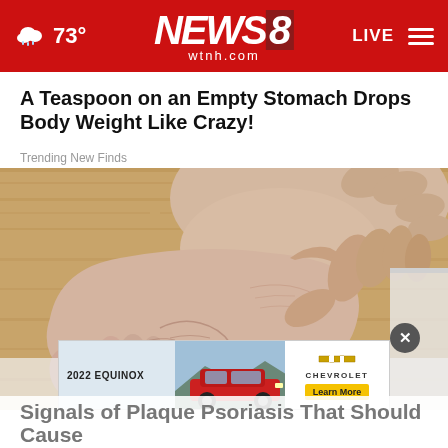73° NEWS8 wtnh.com LIVE
A Teaspoon on an Empty Stomach Drops Body Weight Like Crazy!
Trending New Finds
[Figure (photo): Close-up photo of a person's foot and ankle being held, showing dry, veiny skin on a wooden floor background. An advertisement overlay for 2022 Equinox Chevrolet is visible at the bottom with a close button.]
Signals of Plaque Psoriasis That Should Cause